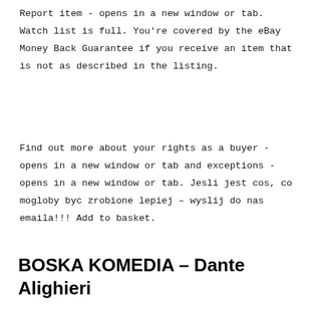Report item - opens in a new window or tab. Watch list is full. You're covered by the eBay Money Back Guarantee if you receive an item that is not as described in the listing.
Find out more about your rights as a buyer - opens in a new window or tab and exceptions - opens in a new window or tab. Jesli jest cos, co mogloby byc zrobione lepiej – wyslij do nas emaila!!! Add to basket.
BOSKA KOMEDIA – Dante Alighieri